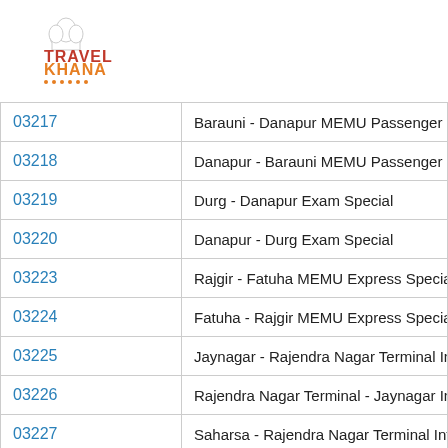[Figure (logo): Travel Khana logo with chef hat icon, red TRAVEL text and orange KHANA text with dots underline]
| Train Number | Train Name |
| --- | --- |
| 03217 | Barauni - Danapur MEMU Passenger Specia |
| 03218 | Danapur - Barauni MEMU Passenger Specia |
| 03219 | Durg - Danapur Exam Special |
| 03220 | Danapur - Durg Exam Special |
| 03223 | Rajgir - Fatuha MEMU Express Special |
| 03224 | Fatuha - Rajgir MEMU Express Special |
| 03225 | Jaynagar - Rajendra Nagar Terminal InterCit |
| 03226 | Rajendra Nagar Terminal - Jaynagar InterCit |
| 03227 | Saharsa - Rajendra Nagar Terminal InterCity |
| 03228 | Rajendra Nagar Terminal - Saharsa InterCity |